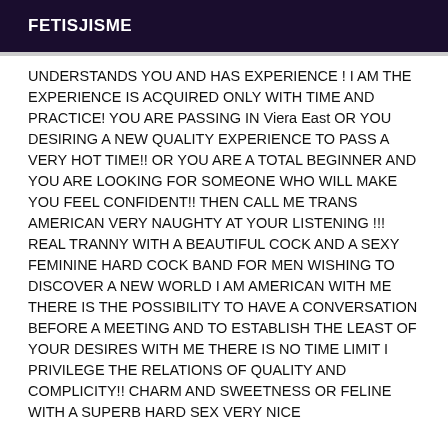FETISJISME
UNDERSTANDS YOU AND HAS EXPERIENCE ! I AM THE EXPERIENCE IS ACQUIRED ONLY WITH TIME AND PRACTICE! YOU ARE PASSING IN Viera East OR YOU DESIRING A NEW QUALITY EXPERIENCE TO PASS A VERY HOT TIME!! OR YOU ARE A TOTAL BEGINNER AND YOU ARE LOOKING FOR SOMEONE WHO WILL MAKE YOU FEEL CONFIDENT!! THEN CALL ME TRANS AMERICAN VERY NAUGHTY AT YOUR LISTENING !!! REAL TRANNY WITH A BEAUTIFUL COCK AND A SEXY FEMININE HARD COCK BAND FOR MEN WISHING TO DISCOVER A NEW WORLD I AM AMERICAN WITH ME THERE IS THE POSSIBILITY TO HAVE A CONVERSATION BEFORE A MEETING AND TO ESTABLISH THE LEAST OF YOUR DESIRES WITH ME THERE IS NO TIME LIMIT I PRIVILEGE THE RELATIONS OF QUALITY AND COMPLICITY!! CHARM AND SWEETNESS OR FELINE WITH A SUPERB HARD SEX VERY NICE